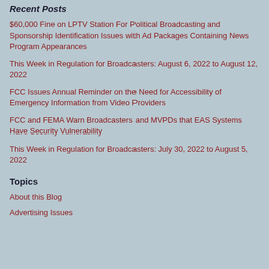Recent Posts
$60,000 Fine on LPTV Station For Political Broadcasting and Sponsorship Identification Issues with Ad Packages Containing News Program Appearances
This Week in Regulation for Broadcasters: August 6, 2022 to August 12, 2022
FCC Issues Annual Reminder on the Need for Accessibility of Emergency Information from Video Providers
FCC and FEMA Warn Broadcasters and MVPDs that EAS Systems Have Security Vulnerability
This Week in Regulation for Broadcasters: July 30, 2022 to August 5, 2022
Topics
About this Blog
Advertising Issues